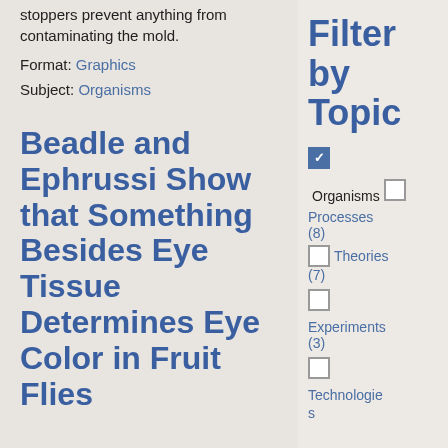stoppers prevent anything from contaminating the mold.
Format: Graphics
Subject: Organisms
Beadle and Ephrussi Show that Something Besides Eye Tissue Determines Eye Color in Fruit Flies
Filter by Topic
☑ Organisms
☐ Processes (8)
☐ Theories (7)
☐ Experiments (3)
☐ Technologies